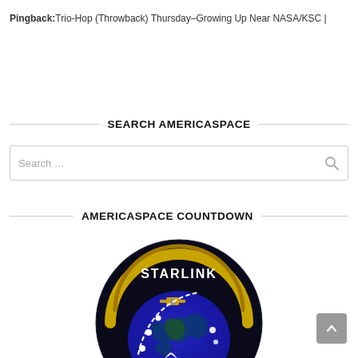Pingback: Trio-Hop (Throwback) Thursday–Growing Up Near NASA/KSC |
SEARCH AMERICASPACE
Search …
AMERICASPACE COUNTDOWN
[Figure (logo): Starlink mission patch logo — circular black badge with gold arc, blue Earth, satellite with solar panels, dotted orbital path and white 'STARLINK' text at top]